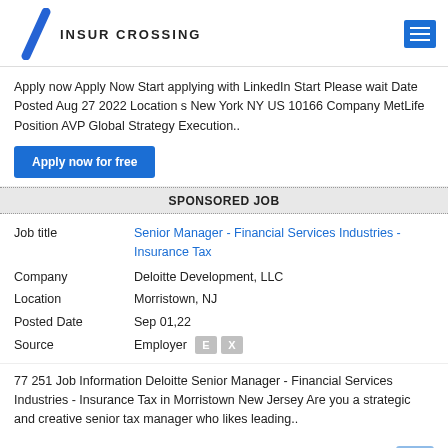INSUR CROSSING
Apply now Apply Now Start applying with LinkedIn Start Please wait Date Posted Aug 27 2022 Location s New York NY US 10166 Company MetLife Position AVP Global Strategy Execution..
Apply now for free
SPONSORED JOB
| Field | Value |
| --- | --- |
| Job title | Senior Manager - Financial Services Industries - Insurance Tax |
| Company | Deloitte Development, LLC |
| Location | Morristown, NJ |
| Posted Date | Sep 01,22 |
| Source | Employer |
77 251 Job Information Deloitte Senior Manager - Financial Services Industries - Insurance Tax in Morristown New Jersey Are you a strategic and creative senior tax manager who likes leading..
Apply now for free